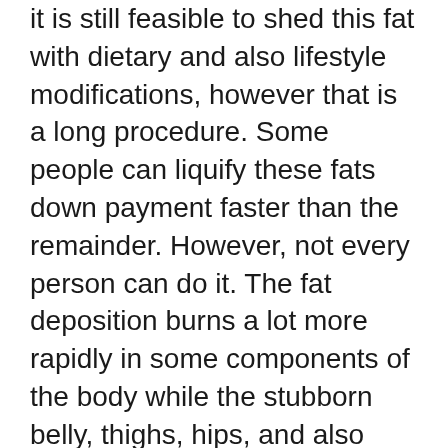it is still feasible to shed this fat with dietary and also lifestyle modifications, however that is a long procedure. Some people can liquify these fats down payment faster than the remainder. However, not every person can do it. The fat deposition burns a lot more rapidly in some components of the body while the stubborn belly, thighs, hips, and also arms take a lengthy time to go. Depending upon the physical activity you do as well as the deposition of fats in various body areas, your body shape varies, and so does your appearance.
Although there are a variety of alternatives readily available out there in the field of weight-reducing things, only a few of them actually function. Java Burn is among the